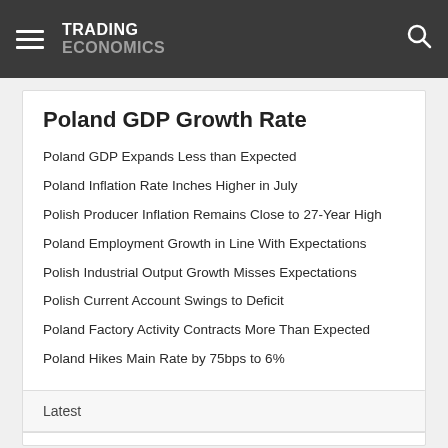TRADING ECONOMICS
Poland GDP Growth Rate
Poland GDP Expands Less than Expected
Poland Inflation Rate Inches Higher in July
Polish Producer Inflation Remains Close to 27-Year High
Poland Employment Growth in Line With Expectations
Polish Industrial Output Growth Misses Expectations
Polish Current Account Swings to Deficit
Poland Factory Activity Contracts More Than Expected
Poland Hikes Main Rate by 75bps to 6%
Latest